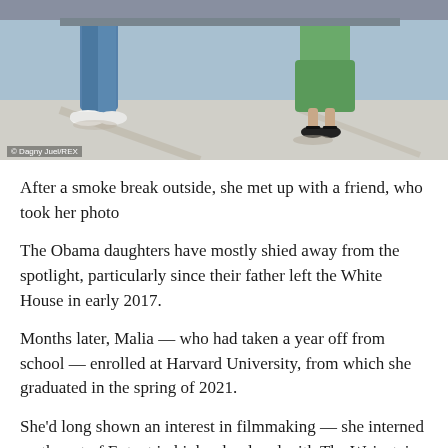[Figure (photo): Photo showing two people from the waist down outdoors — one in blue jeans and white sneakers on the left, one in a green skirt and black sandals on the right, standing on a light-colored pavement with shadows visible.]
© Dagny Juel/REX
After a smoke break outside, she met up with a friend, who took her photo
The Obama daughters have mostly shied away from the spotlight, particularly since their father left the White House in early 2017.
Months later, Malia — who had taken a year off from school — enrolled at Harvard University, from which she graduated in the spring of 2021.
She'd long shown an interest in filmmaking — she interned on the set of Extant in high school and with The Weinstein Company in 2017 — and is now working on an unnamed project for Amazon in Los Angeles.